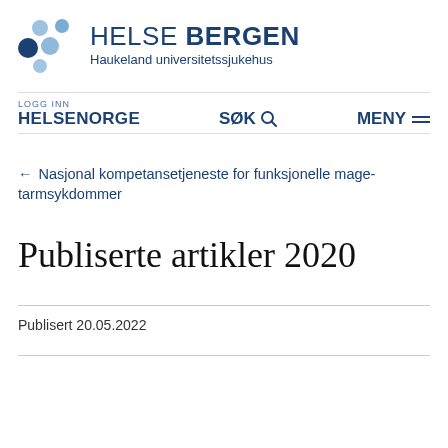[Figure (logo): Helse Bergen Haukeland universitetssjukehus logo with dot pattern and text]
LOGG INN HELSENORGE   SØK   MENY
← Nasjonal kompetansetjeneste for funksjonelle mage-tarmsykdommer
Publiserte artikler 2020
Publisert 20.05.2022